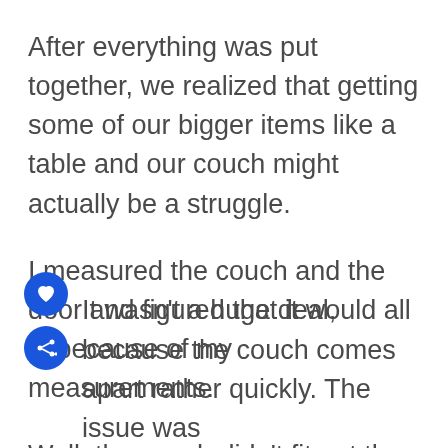After everything was put together, we realized that getting some of our bigger items like a table and our couch might actually be a struggle.
I measured the couch and the door and figured that it would all fit because of my measurements.
Well, the couch didn't fit out the door.
It wasn't a huge deal, because the couch comes apart rather quickly. The issue was that the couch comes apart, meaning...